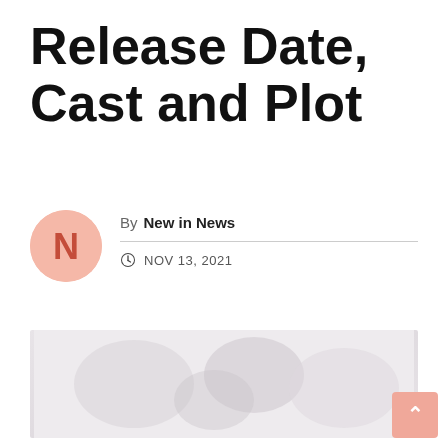Release Date, Cast and Plot
By New in News · NOV 13, 2021
[Figure (photo): Blurred/placeholder article image, faint figures visible on light background]